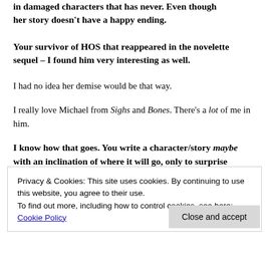in damaged characters that has never. Even though her story doesn't have a happy ending.
Your survivor of HOS that reappeared in the novelette sequel – I found him very interesting as well.
I had no idea her demise would be that way.
I really love Michael from Sighs and Bones. There's a lot of me in him.
I know how that goes. You write a character/story maybe with an inclination of where it will go, only to surprise yourself with it going elsewhere. Do you think her ending worked better this way?
Privacy & Cookies: This site uses cookies. By continuing to use this website, you agree to their use.
To find out more, including how to control cookies, see here: Cookie Policy
Close and accept